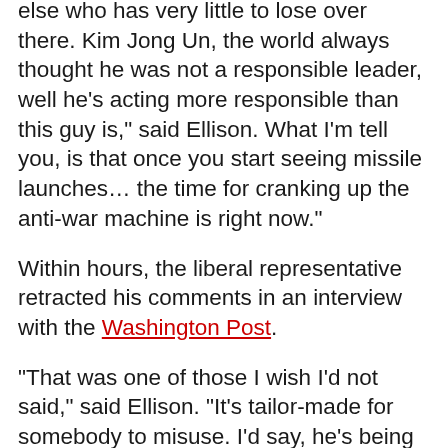else who has very little to lose over there. Kim Jong Un, the world always thought he was not a responsible leader, well he's acting more responsible than this guy is," said Ellison. What I'm tell you, is that once you start seeing missile launches... the time for cranking up the anti-war machine is right now."
Within hours, the liberal representative retracted his comments in an interview with the Washington Post.
"That was one of those I wish I'd not said," said Ellison. "It's tailor-made for somebody to misuse. I'd say, he's being incredibly irresponsible, and he's putting us in a situation where you could have an accidental launch."
President Trump doubled-down on his harsh rhetoric against the North Korean dictator last